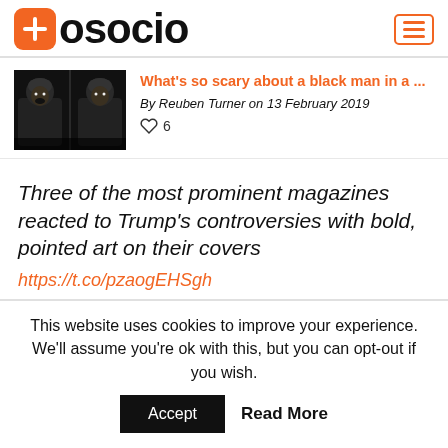aosocio
[Figure (photo): Two men in dark hoodies, side-by-side portrait thumbnails]
What's so scary about a black man in a ...
By Reuben Turner on 13 February 2019
♡ 6
Three of the most prominent magazines reacted to Trump's controversies with bold, pointed art on their covers
https://t.co/pzaogEHSgh
This website uses cookies to improve your experience. We'll assume you're ok with this, but you can opt-out if you wish.
Accept   Read More